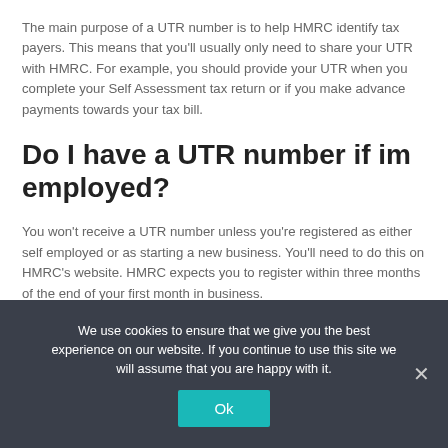The main purpose of a UTR number is to help HMRC identify tax payers. This means that you'll usually only need to share your UTR with HMRC. For example, you should provide your UTR when you complete your Self Assessment tax return or if you make advance payments towards your tax bill.
Do I have a UTR number if im employed?
You won't receive a UTR number unless you're registered as either self employed or as starting a new business. You'll need to do this on HMRC's website. HMRC expects you to register within three months of the end of your first month in business.
We use cookies to ensure that we give you the best experience on our website. If you continue to use this site we will assume that you are happy with it.